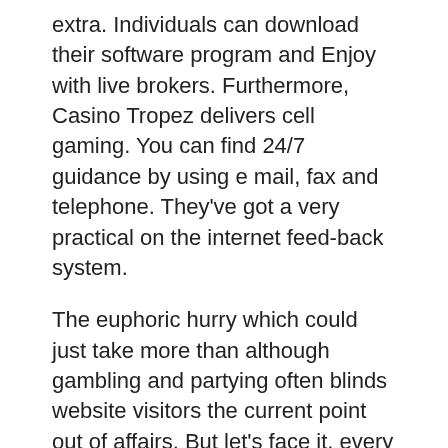extra. Individuals can download their software program and Enjoy with live brokers. Furthermore, Casino Tropez delivers cell gaming. You can find 24/7 guidance by using e mail, fax and telephone. They've got a very practical on the internet feed-back system.
The euphoric hurry which could just take more than although gambling and partying often blinds website visitors the current point out of affairs. But let's face it, every one of us love to wager. And some sites in Vegas do have more enchantment than some other people.
Now, needs all assuming that you'll be participating in at legitimate on line casinos. If you Perform at sketchy gambling web-sites, it may be of pussy888 successful income drop precipitously. Quite a few many gaming web pages to choose from and you can actually are not produced equally. For that rationale, you may make